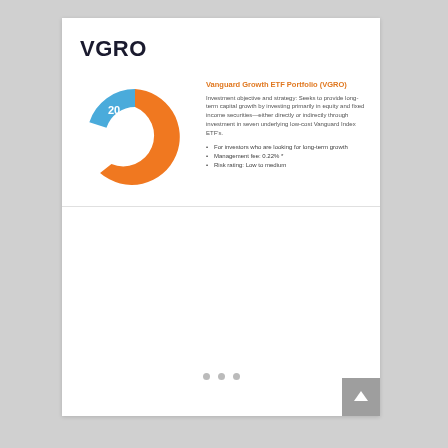VGRO
[Figure (donut-chart): Vanguard Growth ETF Portfolio (VGRO)]
Vanguard Growth ETF Portfolio (VGRO)
Investment objective and strategy: Seeks to provide long-term capital growth by investing primarily in equity and fixed income securities—either directly or indirectly through investment in seven underlying low-cost Vanguard Index ETF's.
For investors who are looking for long-term growth
Management fee: 0.22% *
Risk rating: Low to medium